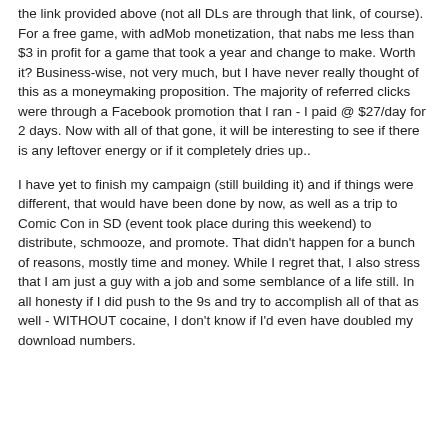the link provided above (not all DLs are through that link, of course). For a free game, with adMob monetization, that nabs me less than $3 in profit for a game that took a year and change to make. Worth it? Business-wise, not very much, but I have never really thought of this as a moneymaking proposition. The majority of referred clicks were through a Facebook promotion that I ran - I paid @ $27/day for 2 days. Now with all of that gone, it will be interesting to see if there is any leftover energy or if it completely dries up..
I have yet to finish my campaign (still building it) and if things were different, that would have been done by now, as well as a trip to Comic Con in SD (event took place during this weekend) to distribute, schmooze, and promote. That didn't happen for a bunch of reasons, mostly time and money. While I regret that, I also stress that I am just a guy with a job and some semblance of a life still. In all honesty if I did push to the 9s and try to accomplish all of that as well - WITHOUT cocaine, I don't know if I'd even have doubled my download numbers.